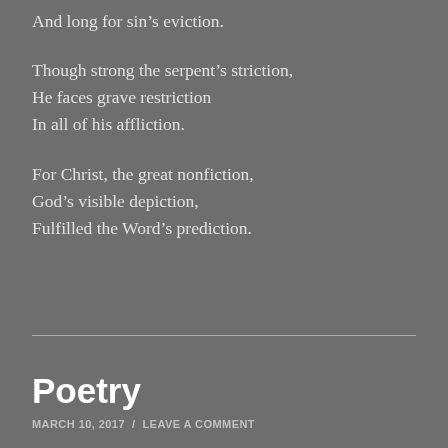And long for sin's eviction.
Though strong the serpent's striction,
He faces grave restriction
In all of his affliction.
For Christ, the great nonfiction,
God's visible depiction,
Fulfilled the Word's prediction.
Poetry
MARCH 10, 2017 / LEAVE A COMMENT